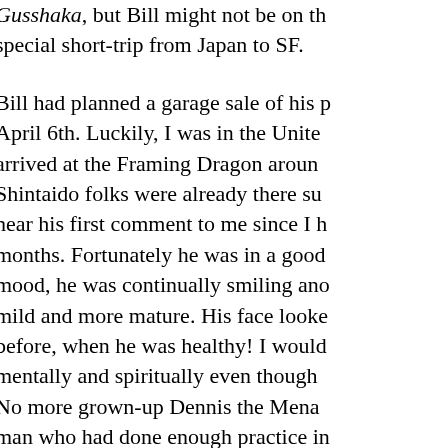Gusshaka, but Bill might not be on the special short-trip from Japan to SF.
Bill had planned a garage sale of his place on April 6th. Luckily, I was in the United States, arrived at the Framing Dragon around... Shintaido folks were already there surrounding... hear his first comment to me since I had been months. Fortunately he was in a good mood, he was continually smiling and mild and more mature. His face looked before, when he was healthy! I would mentally and spiritually even though No more grown-up Dennis the Menace man who had done enough practice in new Bill.
For a long time I wanted him through Shintaido. It was obvious in his body but not in his heart.
This was a new 'Bill' who could listen be listened to. He could love people, loved. He was soft and open so that he long time. I wanted him to reach this